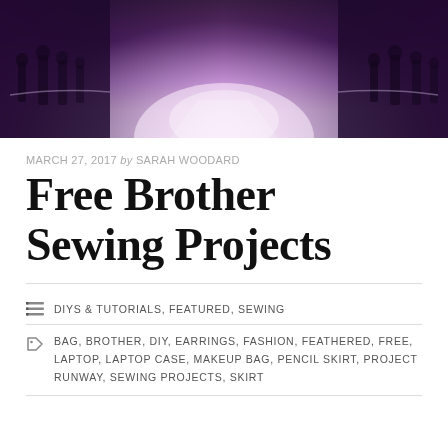[Figure (photo): A photo of a runway or corridor with purple/violet stage lighting, crowd of people on the sides, bright light at the end of the walkway. Dark and moody atmosphere with purple hues.]
MARCH 27, 2017 by SARAH WOODARD
Free Brother Sewing Projects
DIYS & TUTORIALS, FEATURED, SEWING
BAG, BROTHER, DIY, EARRINGS, FASHION, FEATHERED, FREE, LAPTOP, LAPTOP CASE, MAKEUP BAG, PENCIL SKIRT, PROJECT RUNWAY, SEWING PROJECTS, SKIRT